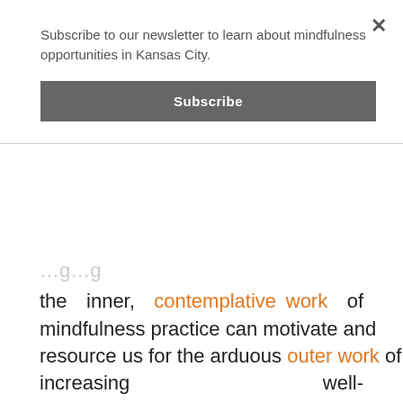Subscribe to our newsletter to learn about mindfulness opportunities in Kansas City.
Subscribe
the inner, contemplative work of mindfulness practice can motivate and resource us for the arduous outer work of increasing well-being for all. Teaching mindfulness competently, safely and inclusively may prove to be an affordable and accessible upstream approach to addressing some of society's most pressing concerns. Some of the threads in this interconnected web include increased